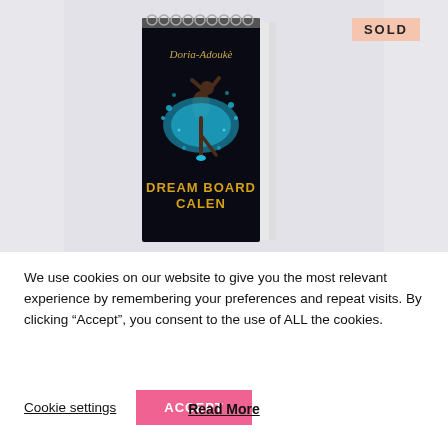[Figure (photo): A spiral-bound notebook with a black cover featuring a ballerina dancer in a blue tutu dress, with gold text reading 'Doria-Adouke' at the top and 'DREAM BOARD CALEN...' at the bottom. The notebook is propped upright on a light gray background. A 'SOLD' badge appears in the upper right corner.]
We use cookies on our website to give you the most relevant experience by remembering your preferences and repeat visits. By clicking “Accept”, you consent to the use of ALL the cookies.
Cookie settings
ACCEPT
Read More